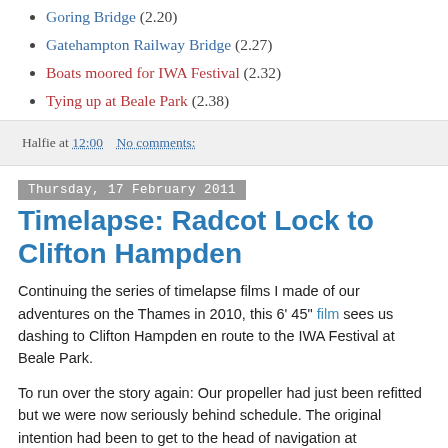Goring Bridge (2.20)
Gatehampton Railway Bridge (2.27)
Boats moored for IWA Festival (2.32)
Tying up at Beale Park (2.38)
Halfie at 12:00    No comments:
Thursday, 17 February 2011
Timelapse: Radcot Lock to Clifton Hampden
Continuing the series of timelapse films I made of our adventures on the Thames in 2010, this 6' 45" film sees us dashing to Clifton Hampden en route to the IWA Festival at Beale Park.
To run over the story again: Our propeller had just been refitted but we were now seriously behind schedule. The original intention had been to get to the head of navigation at